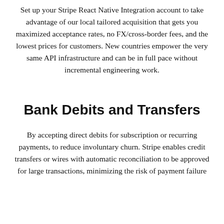Set up your Stripe React Native Integration account to take advantage of our local tailored acquisition that gets you maximized acceptance rates, no FX/cross-border fees, and the lowest prices for customers. New countries empower the very same API infrastructure and can be in full pace without incremental engineering work.
Bank Debits and Transfers
By accepting direct debits for subscription or recurring payments, to reduce involuntary churn. Stripe enables credit transfers or wires with automatic reconciliation to be approved for large transactions, minimizing the risk of payment failure